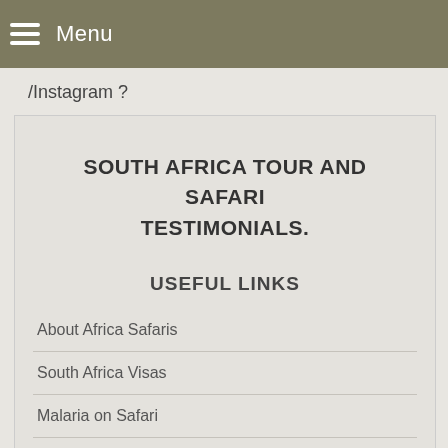Menu
/Instagram ?
SOUTH AFRICA TOUR AND SAFARI TESTIMONIALS.
USEFUL LINKS
About Africa Safaris
South Africa Visas
Malaria on Safari
Africa Safari Clothing
Travel Insurance
South Africa Car Rental